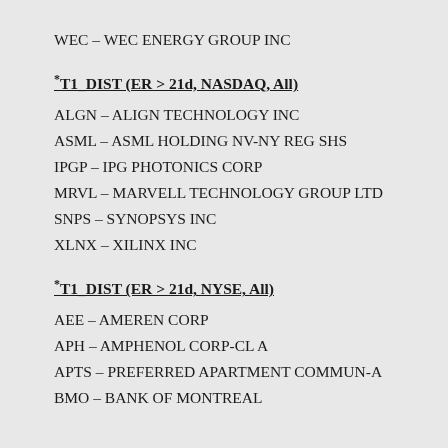WEC – WEC ENERGY GROUP INC
*T1_DIST (ER > 21d, NASDAQ, All)
ALGN – ALIGN TECHNOLOGY INC
ASML – ASML HOLDING NV-NY REG SHS
IPGP – IPG PHOTONICS CORP
MRVL – MARVELL TECHNOLOGY GROUP LTD
SNPS – SYNOPSYS INC
XLNX – XILINX INC
*T1_DIST (ER > 21d, NYSE, All)
AEE – AMEREN CORP
APH – AMPHENOL CORP-CL A
APTS – PREFERRED APARTMENT COMMUN-A
BMO – BANK OF MONTREAL